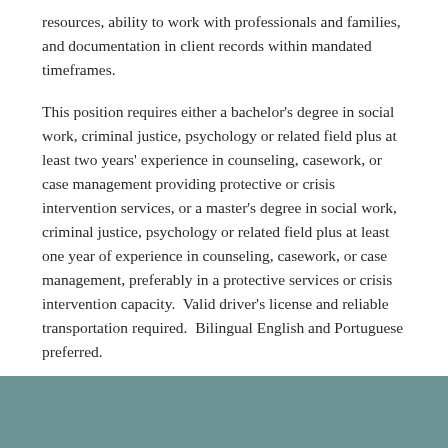resources, ability to work with professionals and families, and documentation in client records within mandated timeframes.
This position requires either a bachelor's degree in social work, criminal justice, psychology or related field plus at least two years' experience in counseling, casework, or case management providing protective or crisis intervention services, or a master's degree in social work, criminal justice, psychology or related field plus at least one year of experience in counseling, casework, or case management, preferably in a protective services or crisis intervention capacity.  Valid driver's license and reliable transportation required.  Bilingual English and Portuguese preferred.